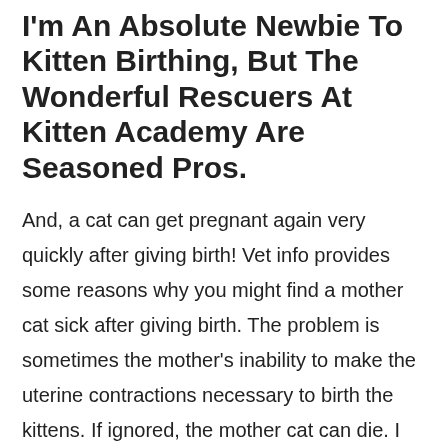I'm An Absolute Newbie To Kitten Birthing, But The Wonderful Rescuers At Kitten Academy Are Seasoned Pros.
And, a cat can get pregnant again very quickly after giving birth! Vet info provides some reasons why you might find a mother cat sick after giving birth. The problem is sometimes the mother's inability to make the uterine contractions necessary to birth the kittens. If ignored, the mother cat can die. I have her in a large cage with plenty of room for her, the kittens ,. If necessary, if she loses forces, you can smear some dextrose or honey on her gum, it gives immediate energy. She has been with me for the last 2 days now and she hasn"t gone yet. This is not even my cat. Shortly